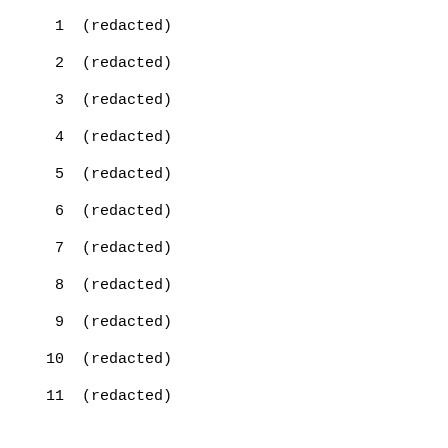1    (redacted)
2    (redacted)
3    (redacted)
4    (redacted)
5    (redacted)
6    (redacted)
7    (redacted)
8    (redacted)
9    (redacted)
10    (redacted)
11    (redacted)